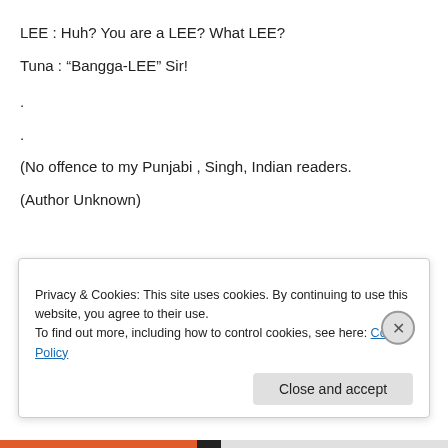LEE : Huh? You are a LEE? What LEE?
Tuna : “Bangga-LEE” Sir!
.
.
(No offence to my Punjabi , Singh, Indian readers.
(Author Unknown)
August 29, 2020   Leave a Reply
Privacy & Cookies: This site uses cookies. By continuing to use this website, you agree to their use.
To find out more, including how to control cookies, see here: Cookie Policy